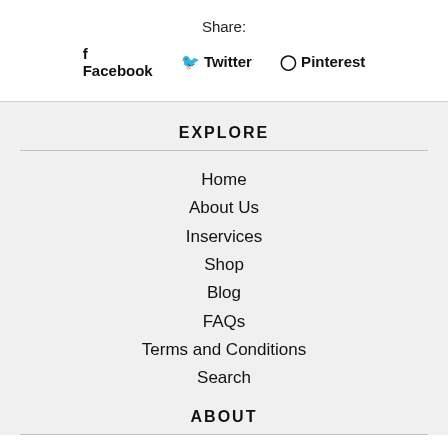Share:
f Facebook  Twitter  Pinterest
EXPLORE
Home
About Us
Inservices
Shop
Blog
FAQs
Terms and Conditions
Search
ABOUT